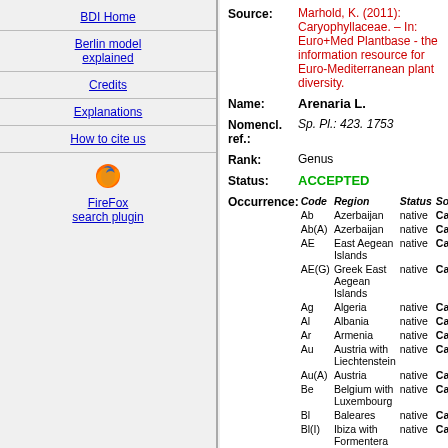BDI Home
Berlin model explained
Credits
Explanations
How to cite us
[Figure (logo): FireFox search plugin logo with flame icon]
Source: Marhold, K. (2011): Caryophyllaceae. – In: Euro+Med Plantbase - the information resource for Euro-Mediterranean plant diversity.
Name: Arenaria L.
Nomencl. ref.: Sp. Pl.: 423. 1753
Rank: Genus
Status: ACCEPTED
| Code | Region | Status | Source |
| --- | --- | --- | --- |
| Ab | Azerbaijan | native | Calculated |
| Ab(A) | Azerbaijan | native | Calculated |
| AE | East Aegean Islands | native | Calculated |
| AE(G) | Greek East Aegean Islands | native | Calculated |
| Ag | Algeria | native | Calculated |
| Al | Albania | native | Calculated |
| Ar | Armenia | native | Calculated |
| Au | Austria with Liechtenstein | native | Calculated |
| Au(A) | Austria | native | Calculated |
| Be | Belgium with Luxembourg | native | Calculated |
| Bl | Baleares | native | Calculated |
| Bl(I) | Ibiza with Formentera | native | Calculated |